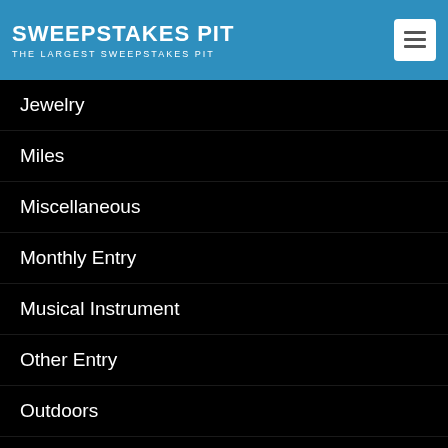SWEEPSTAKES PIT — THE LARGEST SWEEPSTAKES PIT
Jewelry
Miles
Miscellaneous
Monthly Entry
Musical Instrument
Other Entry
Outdoors
PCH Sweepstakes
Pet Food
Rewards